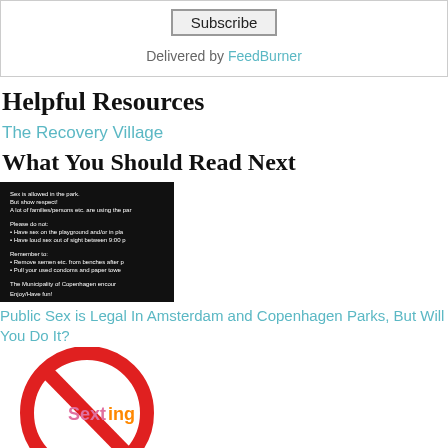[Figure (screenshot): Subscribe button with 'Delivered by FeedBurner' text below]
Helpful Resources
The Recovery Village
What You Should Read Next
[Figure (photo): Dark background sign about public sex rules in Copenhagen park]
Public Sex is Legal In Amsterdam and Copenhagen Parks, But Will You Do It?
[Figure (photo): Red no-symbol circle over text 'Sexting']
[Part 3 w/updates - TIFU By Reading My Wife's Text Messages] Redditor Live Blogs Wife's Cheating
[Figure (photo): Partial red no-symbol circle, cropped at bottom of page]